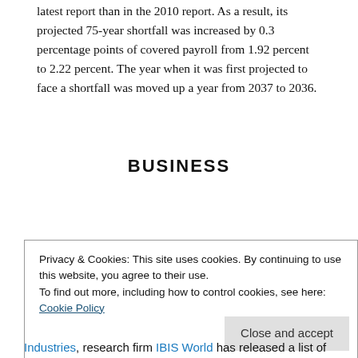latest report than in the 2010 report. As a result, its projected 75-year shortfall was increased by 0.3 percentage points of covered payroll from 1.92 percent to 2.22 percent. The year when it was first projected to face a shortfall was moved up a year from 2037 to 2036.
BUSINESS
Privacy & Cookies: This site uses cookies. By continuing to use this website, you agree to their use. To find out more, including how to control cookies, see here: Cookie Policy
Industries, research firm IBIS World has released a list of the